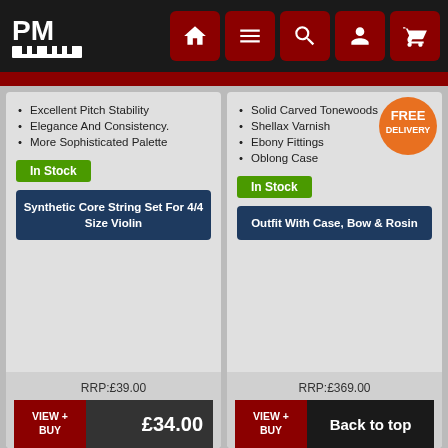[Figure (logo): PM logo with piano keys on black background]
[Figure (infographic): Navigation icons: home, menu, search, account, cart on dark red squares]
Excellent Pitch Stability
Elegance And Consistency.
More Sophisticated Palette
In Stock
Synthetic Core String Set For 4/4 Size Violin
RRP:£39.00
VIEW + BUY
£34.00
Solid Carved Tonewoods
Shellax Varnish
Ebony Fittings
Oblong Case
[Figure (infographic): Orange FREE DELIVERY badge]
In Stock
Outfit With Case, Bow & Rosin
RRP:£369.00
VIEW + BUY
Back to top